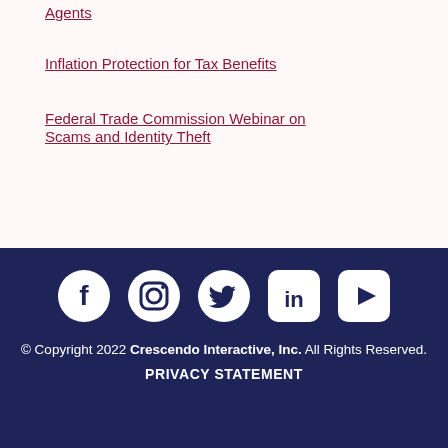Agents
Inflation Protection for Tax Benefits
Federal Trade Commission Webinar on Scams and Identity Theft
[Figure (other): Social media icons: Facebook, Instagram, Twitter, LinkedIn, YouTube]
© Copyright 2022 Crescendo Interactive, Inc. All Rights Reserved.
PRIVACY STATEMENT